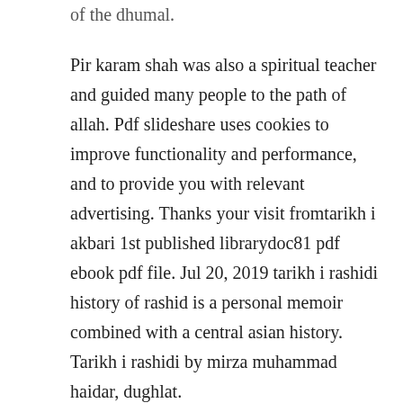of the dhumal.
Pir karam shah was also a spiritual teacher and guided many people to the path of allah. Pdf slideshare uses cookies to improve functionality and performance, and to provide you with relevant advertising. Thanks your visit fromtarikh i akbari 1st published librarydoc81 pdf ebook pdf file. Jul 20, 2019 tarikh i rashidi history of rashid is a personal memoir combined with a central asian history. Tarikh i rashidi by mirza muhammad haidar, dughlat.